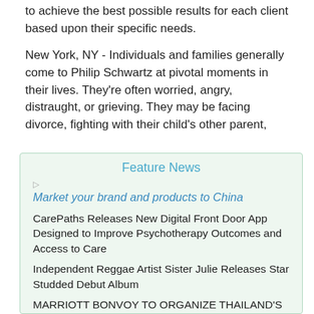to achieve the best possible results for each client based upon their specific needs.
New York, NY - Individuals and families generally come to Philip Schwartz at pivotal moments in their lives. They're often worried, angry, distraught, or grieving. They may be facing divorce, fighting with their child's other parent,
Feature News
Market your brand and products to China
CarePaths Releases New Digital Front Door App Designed to Improve Psychotherapy Outcomes and Access to Care
Independent Reggae Artist Sister Julie Releases Star Studded Debut Album
MARRIOTT BONVOY TO ORGANIZE THAILAND'S BIGGEST CHARITY GOLF DAY IN PHUKET THIS